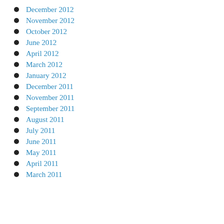December 2012
November 2012
October 2012
June 2012
April 2012
March 2012
January 2012
December 2011
November 2011
September 2011
August 2011
July 2011
June 2011
May 2011
April 2011
March 2011